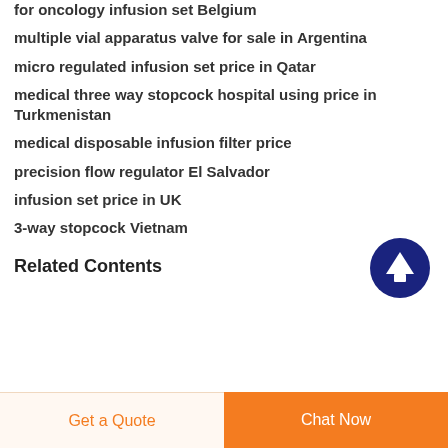for oncology infusion set Belgium
multiple vial apparatus valve for sale in Argentina
micro regulated infusion set price in Qatar
medical three way stopcock hospital using price in Turkmenistan
medical disposable infusion filter price
precision flow regulator El Salvador
infusion set price in UK
3-way stopcock Vietnam
Related Contents